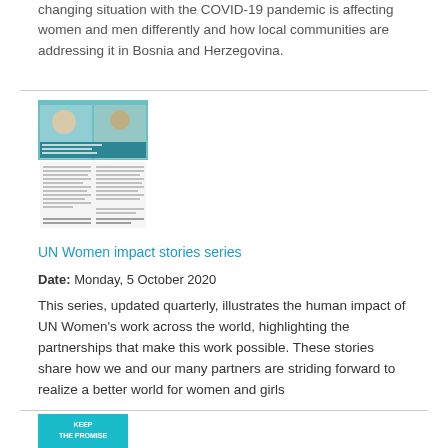changing situation with the COVID-19 pandemic is affecting women and men differently and how local communities are addressing it in Bosnia and Herzegovina.
[Figure (screenshot): Thumbnail image of a UN Women publication document showing two people on the cover with teal header and text content below]
UN Women impact stories series
Date: Monday, 5 October 2020
This series, updated quarterly, illustrates the human impact of UN Women's work across the world, highlighting the partnerships that make this work possible. These stories share how we and our many partners are striding forward to realize a better world for women and girls
[Figure (screenshot): Thumbnail of a teal document with text KEEP THE PROMISE]